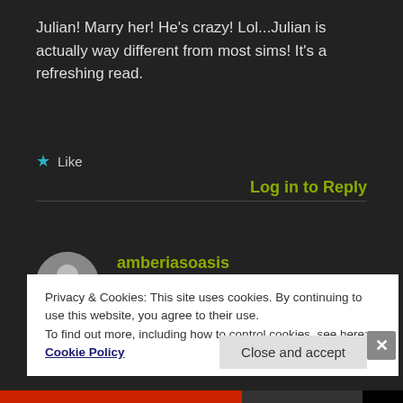Julian! Marry her! He's crazy! Lol...Julian is actually way different from most sims! It's a refreshing read.
★ Like
Log in to Reply
[Figure (illustration): Grey circular avatar with silhouette of a person]
amberiasoasis
OCTOBER 22, 2009 AT 6:41 PM
Oooooh, I like it. Julian's such a creep...but I really like
Privacy & Cookies: This site uses cookies. By continuing to use this website, you agree to their use.
To find out more, including how to control cookies, see here: Cookie Policy
Close and accept